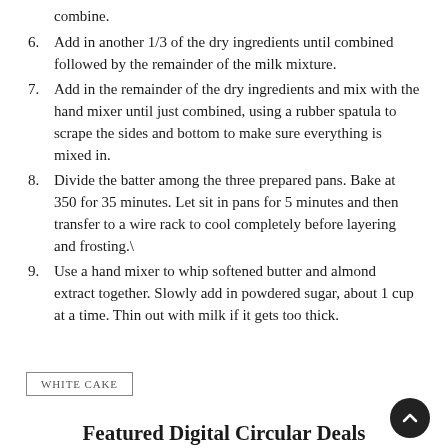combine.
6. Add in another 1/3 of the dry ingredients until combined followed by the remainder of the milk mixture.
7. Add in the remainder of the dry ingredients and mix with the hand mixer until just combined, using a rubber spatula to scrape the sides and bottom to make sure everything is mixed in.
8. Divide the batter among the three prepared pans. Bake at 350 for 35 minutes. Let sit in pans for 5 minutes and then transfer to a wire rack to cool completely before layering and frosting.\
9. Use a hand mixer to whip softened butter and almond extract together. Slowly add in powdered sugar, about 1 cup at a time. Thin out with milk if it gets too thick.
WHITE CAKE
Featured Digital Circular Deals